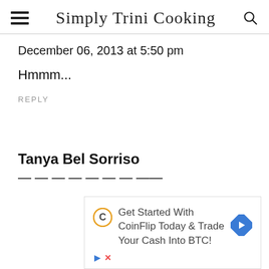Simply Trini Cooking
December 06, 2013 at 5:50 pm
Hmmm...
REPLY
Tanya Bel Sorriso
[Figure (other): Advertisement banner: Get Started With CoinFlip Today & Trade Your Cash Into BTC! with CoinFlip logo and arrow icon]